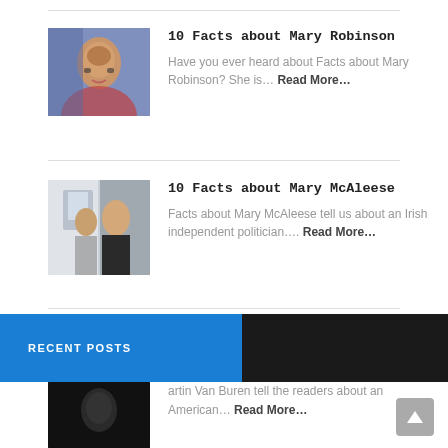10 Facts about Mary Robinson
Have you ever heard about Facts about Mary Robinson? She is… Read More…
10 Facts about Mary McAleese
Facts about Mary McAleese tell us about an Irish independent politician…. Read More…
RECENT POSTS
artin Van Buren tell the readers about an American… Read More…